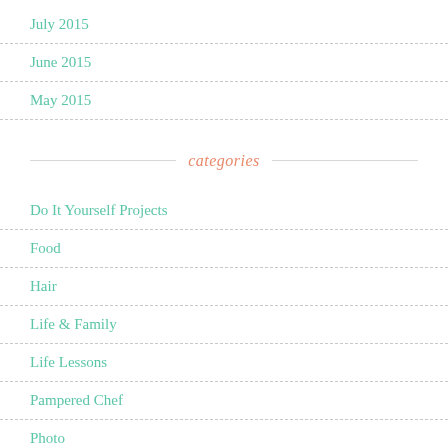July 2015
June 2015
May 2015
categories
Do It Yourself Projects
Food
Hair
Life & Family
Life Lessons
Pampered Chef
Photo